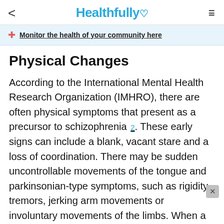< Healthfully ♡ ≡
Monitor the health of your community here
Physical Changes
According to the International Mental Health Research Organization (IMHRO), there are often physical symptoms that present as a precursor to schizophrenia 2. These early signs can include a blank, vacant stare and a loss of coordination. There may be sudden uncontrollable movements of the tongue and parkinsonian-type symptoms, such as rigidity, tremors, jerking arm movements or involuntary movements of the limbs. When a healthy person begins to exhibit these signs, further evaluation